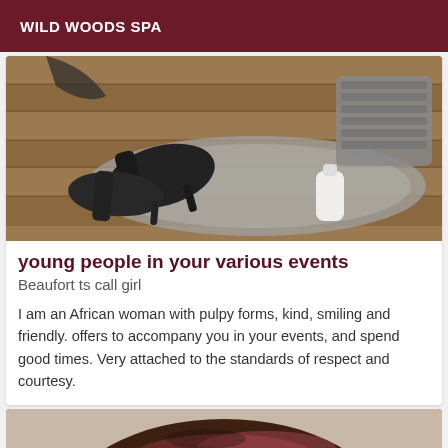WILD WOODS SPA
[Figure (photo): Photo showing a floor scene with dark high-heeled shoes, a grey rug, a white lotion bottle, and a grey basket on a wooden floor.]
young people in your various events
Beaufort ts call girl
I am an African woman with pulpy forms, kind, smiling and friendly. offers to accompany you in your events, and spend good times. Very attached to the standards of respect and courtesy.
[Figure (photo): Photo showing the top of a person's head with dark hair with pink/reddish highlights.]